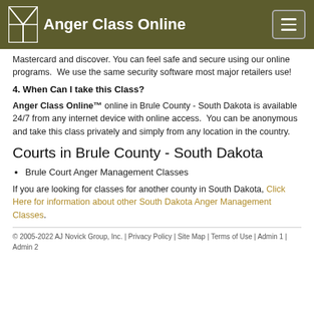Anger Class Online
Mastercard and discover. You can feel safe and secure using our online programs.  We use the same security software most major retailers use!
4. When Can I take this Class?
Anger Class Online™ online in Brule County - South Dakota is available 24/7 from any internet device with online access.  You can be anonymous and take this class privately and simply from any location in the country.
Courts in Brule County - South Dakota
Brule Court Anger Management Classes
If you are looking for classes for another county in South Dakota, Click Here for information about other South Dakota Anger Management Classes.
© 2005-2022 AJ Novick Group, Inc. | Privacy Policy | Site Map | Terms of Use | Admin 1 | Admin 2